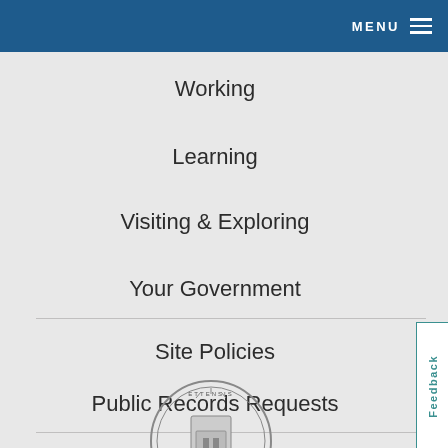MENU
Working
Learning
Visiting & Exploring
Your Government
Site Policies
Public Records Requests
[Figure (logo): City or government seal, partially visible at bottom of page]